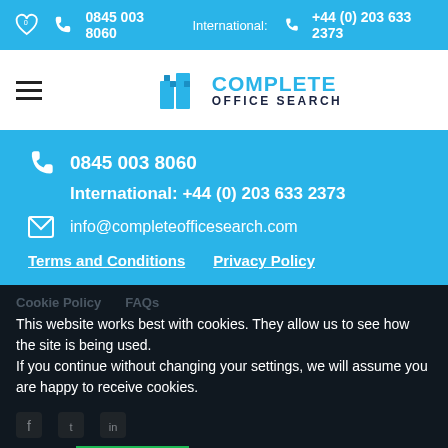0845 003 8060  International: +44 (0) 203 633 2373
[Figure (logo): Complete Office Search logo with blue building icon and blue/dark text]
0845 003 8060
International: +44 (0) 203 633 2373
info@completeofficesearch.com
Terms and Conditions   Privacy Policy
Cookie Policy   FAQs
This website works best with cookies. They allow us to see how the site is being used.
If you continue without changing your settings, we will assume you are happy to receive cookies.
Accept   Learn More
Copyright © 2016-2022. All rights reserved.